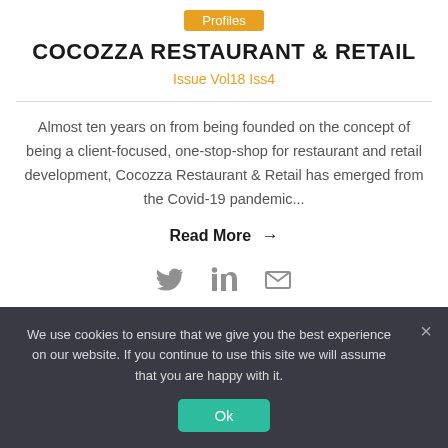Profiles
COCOZZA RESTAURANT & RETAIL
Issue Vol18 Iss4
Almost ten years on from being founded on the concept of being a client-focused, one-stop-shop for restaurant and retail development, Cocozza Restaurant & Retail has emerged from the Covid-19 pandemic...
Read More →
[Figure (infographic): Social media icons: Twitter bird, LinkedIn 'in', and envelope/email icon]
We use cookies to ensure that we give you the best experience on our website. If you continue to use this site we will assume that you are happy with it.